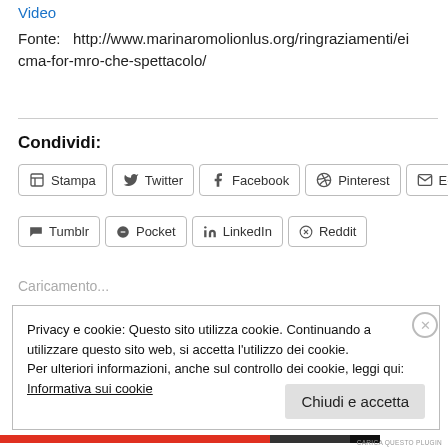Video
Fonte:   http://www.marinaromolionlus.org/ringraziamenti/eicma-for-mro-che-spettacolo/
Condividi:
Stampa  Twitter  Facebook  Pinterest  E-mail  Tumblr  Pocket  LinkedIn  Reddit
Caricamento...
Privacy e cookie: Questo sito utilizza cookie. Continuando a utilizzare questo sito web, si accetta l'utilizzo dei cookie.
Per ulteriori informazioni, anche sul controllo dei cookie, leggi qui:
Informativa sui cookie
Chiudi e accetta